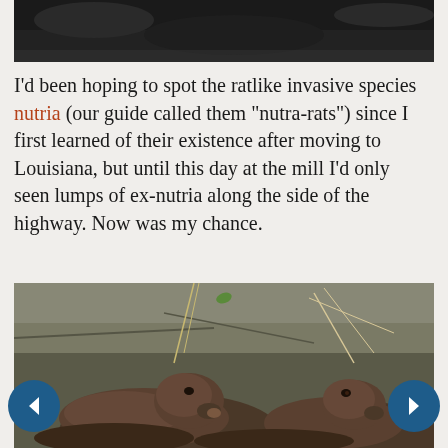[Figure (photo): Dark water or rocky surface close-up photo, top portion of page]
I'd been hoping to spot the ratlike invasive species nutria (our guide called them "nutra-rats") since I first learned of their existence after moving to Louisiana, but until this day at the mill I'd only seen lumps of ex-nutria along the side of the highway. Now was my chance.
[Figure (photo): Two nutria (large rodents) resting against a rocky surface, viewed from above and front]
[Figure (infographic): Left navigation arrow button (dark blue circle with white left arrow)]
[Figure (infographic): Right navigation arrow button (dark blue circle with white right arrow)]